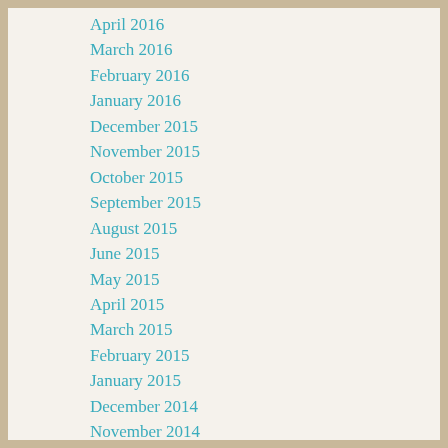April 2016
March 2016
February 2016
January 2016
December 2015
November 2015
October 2015
September 2015
August 2015
June 2015
May 2015
April 2015
March 2015
February 2015
January 2015
December 2014
November 2014
October 2014
September 2014
August 2014
June 2014